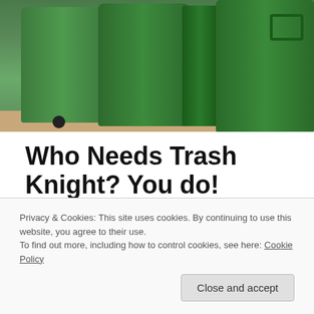[Figure (photo): Photo of green plastic trash/garbage cans on a floor, viewed from the front]
Who Needs Trash Knight? You do!
Q. Who needs a Trash Knight™ and what can they protect?
A. The Trash Knight was originally designed in 2006 to keep animals out of residential garbage cans and facilitate easier
Privacy & Cookies: This site uses cookies. By continuing to use this website, you agree to their use.
To find out more, including how to control cookies, see here: Cookie Policy